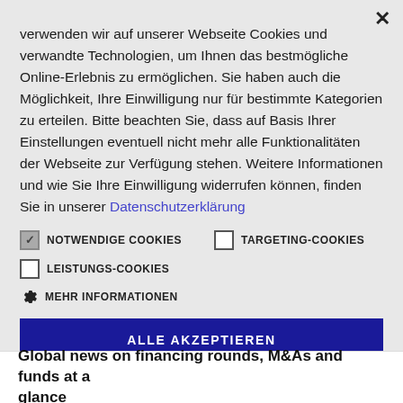verwenden wir auf unserer Webseite Cookies und verwandte Technologien, um Ihnen das bestmögliche Online-Erlebnis zu ermöglichen. Sie haben auch die Möglichkeit, Ihre Einwilligung nur für bestimmte Kategorien zu erteilen. Bitte beachten Sie, dass auf Basis Ihrer Einstellungen eventuell nicht mehr alle Funktionalitäten der Webseite zur Verfügung stehen. Weitere Informationen und wie Sie Ihre Einwilligung widerrufen können, finden Sie in unserer Datenschutzerklärung
NOTWENDIGE COOKIES (checked), TARGETING-COOKIES (unchecked)
LEISTUNGS-COOKIES (unchecked)
MEHR INFORMATIONEN
ALLE AKZEPTIEREN
Global news on financing rounds, M&As and funds at a glance